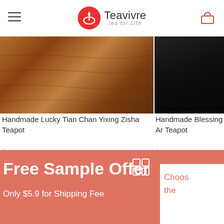Teavivre — tea for Life
[Figure (photo): Partial view of a handmade Yixing Zisha teapot on a wooden surface, warm brown tones]
Handmade Lucky Tian Chan Yixing Zisha Teapot
$349.00
[Figure (photo): Partial cropped view of a handmade teapot, mostly dark/black background]
Handmade Blessing Ar... Teapot
$309.00
Free Sample Offer
Only $5.9 for Shipping Fee
Choos... the...